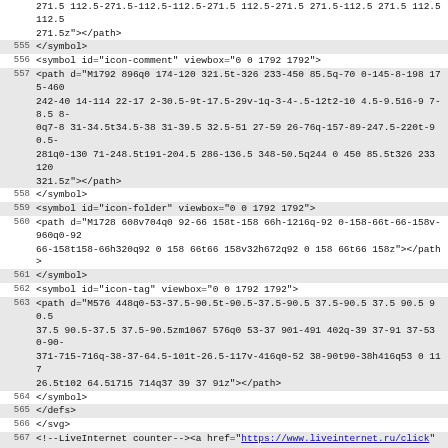271.5 112.5-271.5-112.5-112.5-271.5 112.5-271.5 271.5-112.5 271.5 112.5 112.5 271.5z"></path>
555 </symbol>
556 <symbol id="icon-comment" viewbox="0 0 1792 1792">
557 <path d="M1792 896q0 174-120 321.5t-326 233-450 85.5q-70 0-145-8-198 175-460 242-40 14-114 22-17 2-30.5-9t-17.5-29v-1q-3-4-.5-12t2-10 4.5-9.516-9 7-8.5 8-0q7-8 31-34.5t34.5-38 31-39.5 32.5-51 27-59 26-76q-157-89-247.5-220t-90.5-281q0-130 71-248.5t191-204.5 286-136.5 348-50.5q244 0 450 85.5t326 233 120 321.5z"></path>
558 </symbol>
559 <symbol id="icon-folder" viewbox="0 0 1792 1792">
560 <path d="M1728 608v704q0 92-66 158t-158 66h-1216q-92 0-158-66t-66-158v-960q0-92 66-158t158-66h320q92 0 158 66t66 158v32h672q92 0 158 66t66 158z"></path>
561 </symbol>
562 <symbol id="icon-tag" viewbox="0 0 1792 1792">
563 <path d="M576 448q0-53-37.5-90.5t-90.5-37.5-90.5 37.5-90.5 37.5 90.5 90.5 37.5 90.5 90.5-37.5 37.5-90.5zm1067 576q0 53-37 901-491 402q-39 37-91 37-53 0-90-371-715-716q-38-37-64.5-101t-26.5-117v-416q0-52 38-90t90-38h416q53 0 117 26.5t102 64.51715 714q37 39 37 91z"></path>
564 </symbol>
565 </defs>
566 </svg>
567 <!--LiveInternet counter--><a href="https://www.liveinternet.ru/click" target="_blank"><amp-img id="licnt1E4A" width="31" height="31" title="LiveInternet" src="data:image/gif;base64,R01GOD1hAQABAIAAAAAAAAP///yH5BAAAAEALAAAAAABAAEAAAICRAEAOw==" alt="" class="amp-wp-enforced-sizes amp-wp-012333e i-amphtml-layout-intrinsic i-amphtml-layout-size-defined" layout="intrinsic" data-amp-original-style="border:0" i-amphtml-layout="intrinsic"><i-amphtml-sizer class="i-amphtml-sizer"><img alt="" aria-hidden="true" class="i-amphtml-intrinsic-sizer" role="presentation" src="data:image/svg+xml;base64,PHN2ZyBoZWlnaHQ9JzMxJyB3aWR0aD0nMzEnIHhtbG5zPSd...">